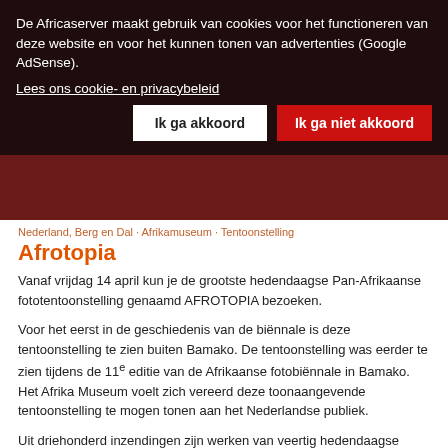De Africaserver maakt gebruik van cookies voor het functioneren van deze website en voor het kunnen tonen van advertenties (Google AdSense).
Lees ons cookie- en privacybeleid
Ik ga akkoord
Ik ga niet akkoord
Nederland, Berg en Dal · Afrikamuseum · Tentoonstelling
Afrotopia
Vanaf vrijdag 14 april kun je de grootste hedendaagse Pan-Afrikaanse fototentoonstelling genaamd AFROTOPIA bezoeken.
Voor het eerst in de geschiedenis van de biënnale is deze tentoonstelling te zien buiten Bamako. De tentoonstelling was eerder te zien tijdens de 11e editie van de Afrikaanse fotobiënnale in Bamako. Het Afrika Museum voelt zich vereerd deze toonaangevende tentoonstelling te mogen tonen aan het Nederlandse publiek.
Uit driehonderd inzendingen zijn werken van veertig hedendaagse Afrikaanse fotografen en kunstenaars geselecteerd die geïnspireerd zijn door het thema Afrotopia en de potentiële kracht waarmee Afrika kan bijdragen aan onze gezamenlijke toekomst. Hun werk toont nieuwe inzichten over het verleden, schijnt licht op het heden en biedt nieuwe perspectieven voor de toekomst.
Afrikamuseum